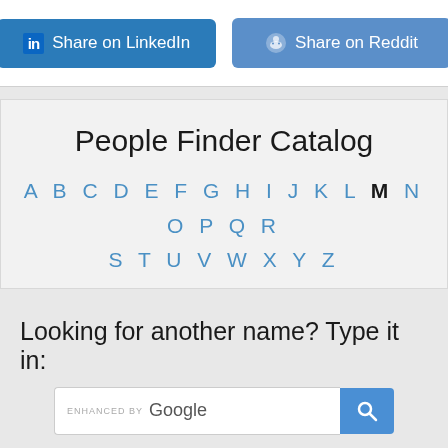[Figure (screenshot): Two social share buttons: 'Share on LinkedIn' (blue with LinkedIn logo) and 'Share on Reddit' (lighter blue with Reddit logo)]
People Finder Catalog
A B C D E F G H I J K L M N O P Q R S T U V W X Y Z
Looking for another name? Type it in:
[Figure (screenshot): Google enhanced search bar with blue search button]
[Figure (photo): Three partial photo thumbnails at bottom]